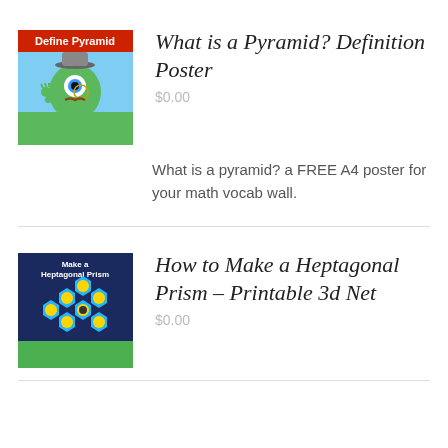[Figure (illustration): Thumbnail image for 'Define Pyramid' product: cartoon monster character with one eye, hat, mustache on a blue/green background with red 'Define Pyramid' text banner]
What is a Pyramid? Definition Poster
$0.00
What is a pyramid? a FREE A4 poster for your math vocab wall.
[Figure (illustration): Thumbnail image for 'Make a Heptagonal Prism' product: dark blue background with yellow emoji-face hexagons arranged in a flower pattern, with 'Make a Heptagonal Prism' text]
How to Make a Heptagonal Prism – Printable 3d Net
$0.00